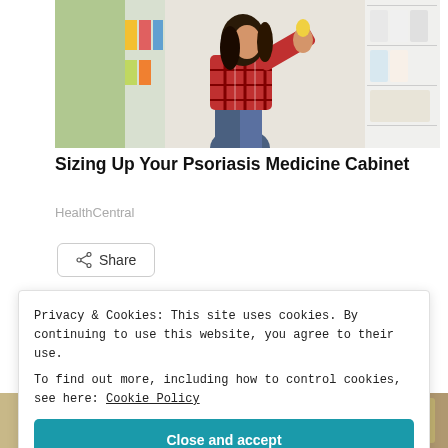[Figure (photo): Woman in red plaid shirt crouching in a pharmacy or store aisle, examining a product on the shelf. Store shelves with products visible in background.]
Sizing Up Your Psoriasis Medicine Cabinet
HealthCentral
Share
Loading...
Privacy & Cookies: This site uses cookies. By continuing to use this website, you agree to their use.
To find out more, including how to control cookies, see here: Cookie Policy
Close and accept